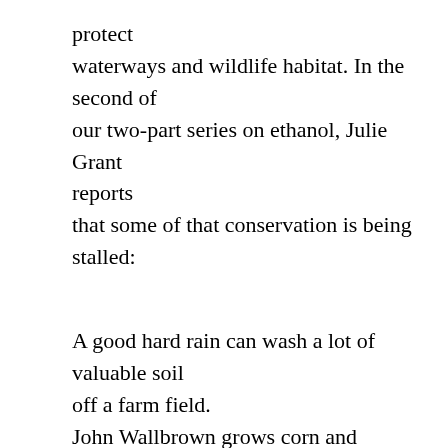protect waterways and wildlife habitat. In the second of our two-part series on ethanol, Julie Grant reports that some of that conservation is being stalled:
A good hard rain can wash a lot of valuable soil off a farm field. John Wallbrown grows corn and soybeans on his farm. He says losing soil is just like losing money. The soil carries with it all the nutrients he's put in the fields to help the crops grow, things such as nitrogen and phosphorous. Wallbrown says